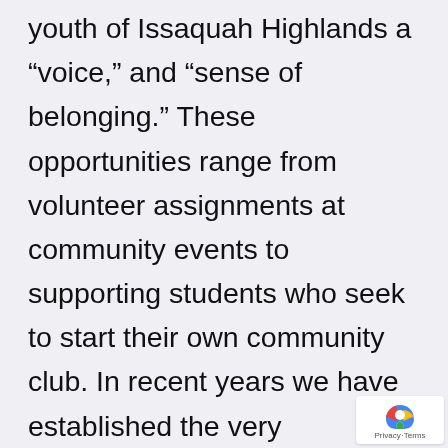youth of Issaquah Highlands a “voice,” and “sense of belonging.” These opportunities range from volunteer assignments at community events to supporting students who seek to start their own community club. In recent years we have established the very successful Highlands Youth Advisory Board, best known by resident teens as The HY. Before the HY was established Highlands